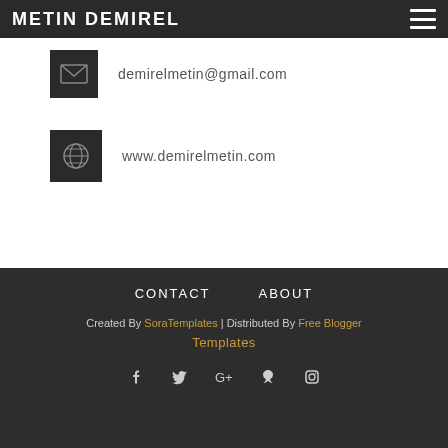METIN DEMIREL
demirelmetin@gmail.com
www.demirelmetin.com
CONTACT   ABOUT
Created By SoraTemplates | Distributed By Free Blogger Templates